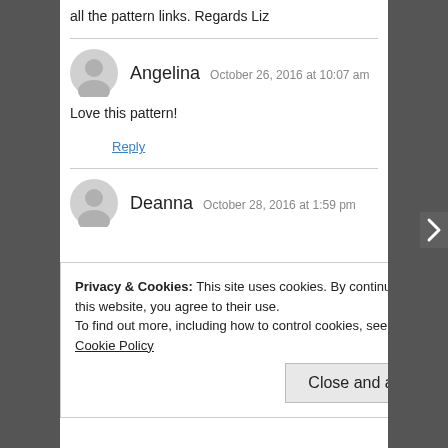all the pattern links. Regards Liz
Angelina  October 26, 2016 at 10:07 am
Love this pattern!
Reply
Deanna  October 28, 2016 at 1:59 pm
Privacy & Cookies: This site uses cookies. By continuing to use this website, you agree to their use.
To find out more, including how to control cookies, see here: Cookie Policy
Close and accept